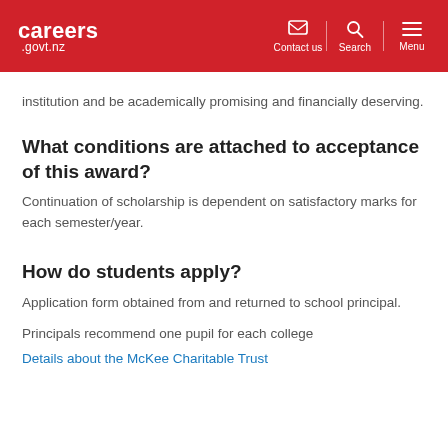careers .govt.nz | Contact us | Search | Menu
institution and be academically promising and financially deserving.
What conditions are attached to acceptance of this award?
Continuation of scholarship is dependent on satisfactory marks for each semester/year.
How do students apply?
Application form obtained from and returned to school principal.
Principals recommend one pupil for each college
Details about the McKee Charitable Trust